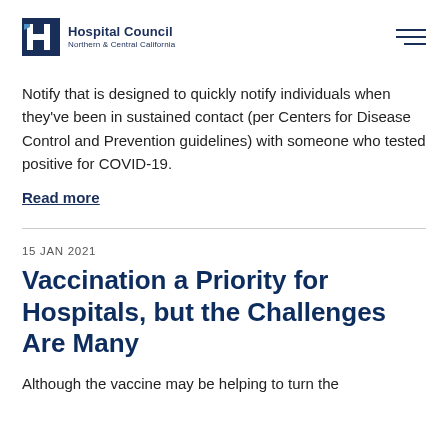[Figure (logo): Hospital Council Northern & Central California logo with H icon]
Notify that is designed to quickly notify individuals when they've been in sustained contact (per Centers for Disease Control and Prevention guidelines) with someone who tested positive for COVID-19.
Read more
15 JAN 2021
Vaccination a Priority for Hospitals, but the Challenges Are Many
Although the vaccine may be helping to turn the